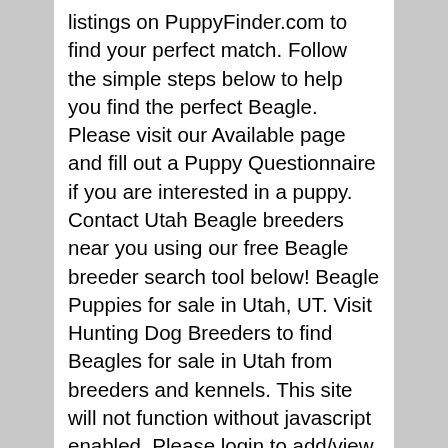listings on PuppyFinder.com to find your perfect match. Follow the simple steps below to help you find the perfect Beagle. Please visit our Available page and fill out a Puppy Questionnaire if you are interested in a puppy. Contact Utah Beagle breeders near you using our free Beagle breeder search tool below! Beagle Puppies for sale in Utah, UT. Visit Hunting Dog Breeders to find Beagles for sale in Utah from breeders and kennels. This site will not function without javascript enabled. Please login to add/view friends online. Beagle Colors; Hound Colors; Club Directory; Judge Directory; History; Pedigrees; Breeder Directory. Don't miss what's happening in your neighborhood. Current Litters. Skip to content. Are you a breeder of Beagles? We strive to breed for high-quality conformation Beagles, and excellent temperament in our puppies. Find Beagle Puppies and Dogs for Adoption Today! Beagle is a very ancient dog breed and its actual origin is … Please visit Parker's page for more information on this wonderful boy! 1 talking about this. Heading into my 17th year in beagles I'm proud of my accomplishments and thankful for those that have shared their wonderful dogs with me and for those who have